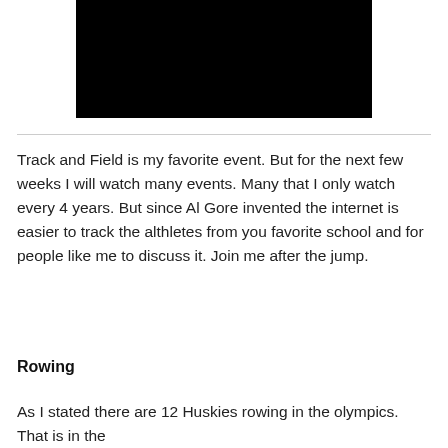[Figure (photo): Black rectangle representing a video or image placeholder]
Track and Field is my favorite event. But for the next few weeks I will watch many events. Many that I only watch every 4 years. But since Al Gore invented the internet is easier to track the althletes from you favorite school and for people like me to discuss it. Join me after the jump.
Rowing
As I stated there are 12 Huskies rowing in the olympics. That is in the